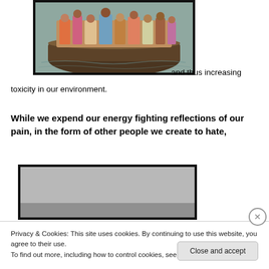[Figure (photo): Photograph of many people crowded on a wooden boat on water]
and thus increasing toxicity in our environment.
While we expend our energy fighting reflections of our pain, in the form of other people we create to hate,
[Figure (photo): Partially visible photograph, mostly gray/obscured]
Privacy & Cookies: This site uses cookies. By continuing to use this website, you agree to their use.
To find out more, including how to control cookies, see here: Cookie Policy
Close and accept